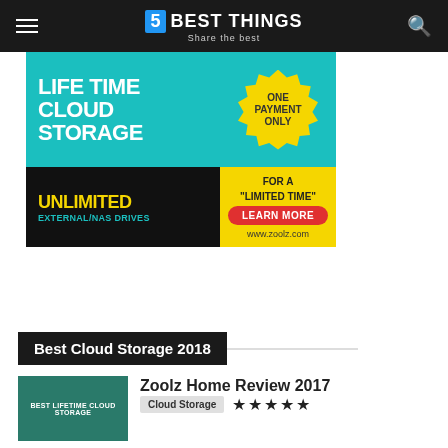5 BEST THINGS — Share the best
[Figure (photo): Zoolz cloud storage advertisement banner: teal background with 'LIFETIME CLOUD STORAGE' text, yellow starburst badge 'ONE PAYMENT ONLY', black section with 'UNLIMITED EXTERNAL/NAS DRIVES', yellow section with 'FOR A "LIMITED TIME"', red 'LEARN MORE' button, and www.zoolz.com URL]
Best Cloud Storage 2018
Zoolz Home Review 2017
Cloud Storage ★★★★★